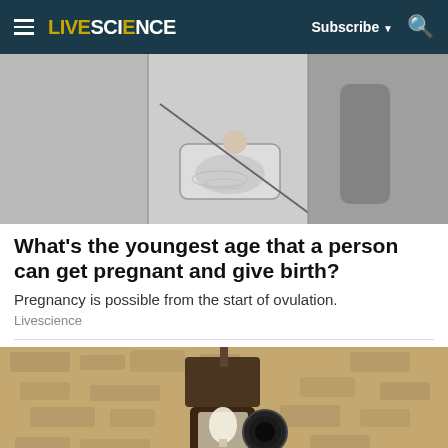LIVESCIENCE | Subscribe | Search
[Figure (photo): Black and white collage image — left shows blurred figure, center shows baby or infant in a bathtub, right shows blurred standing figure]
What's the youngest age that a person can get pregnant and give birth?
Pregnancy is possible from the start of ovulation.
Livescience
[Figure (photo): Photo of a wall-mounted outdoor light fixture / lamp on a textured stone wall]
[Figure (infographic): Advertisement banner: Save Up to 65% Leesburg Premium Outlets, with logo and navigation arrow icon]